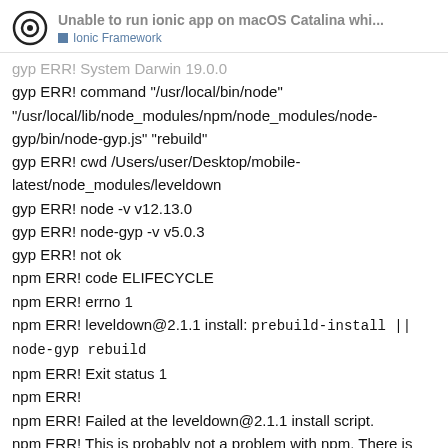Unable to run ionic app on macOS Catalina whi...
Ionic Framework
gyp ERR! System Darwin 19.0.0
gyp ERR! command "/usr/local/bin/node" "/usr/local/lib/node_modules/npm/node_modules/node-gyp/bin/node-gyp.js" "rebuild"
gyp ERR! cwd /Users/user/Desktop/mobile-latest/node_modules/leveldown
gyp ERR! node -v v12.13.0
gyp ERR! node-gyp -v v5.0.3
gyp ERR! not ok
npm ERR! code ELIFECYCLE
npm ERR! errno 1
npm ERR! leveldown@2.1.1 install: `prebuild-install || node-gyp rebuild`
npm ERR! Exit status 1
npm ERR!
npm ERR! Failed at the leveldown@2.1.1 install script.
npm ERR! This is probably not a problem with npm. There is likely additional logging output above.

npm ERR! A complete log of this run can be found in: